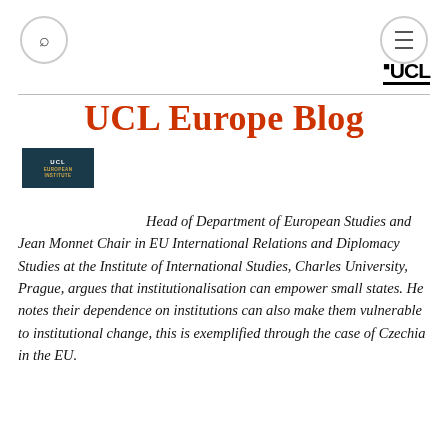UCL Europe Blog
[Figure (logo): UCL European Institute logo — dark teal background with white and gold text]
Head of Department of European Studies and Jean Monnet Chair in EU International Relations and Diplomacy Studies at the Institute of International Studies, Charles University, Prague, argues that institutionalisation can empower small states. He notes their dependence on institutions can also make them vulnerable to institutional change, this is exemplified through the case of Czechia in the EU.